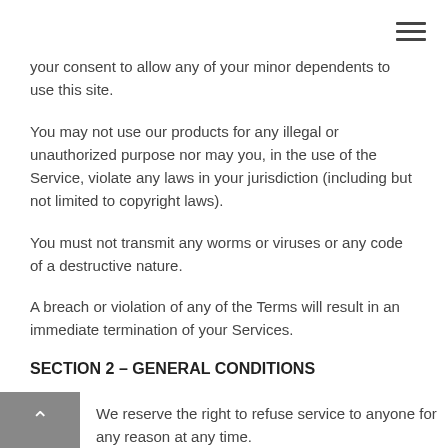your consent to allow any of your minor dependents to use this site.
You may not use our products for any illegal or unauthorized purpose nor may you, in the use of the Service, violate any laws in your jurisdiction (including but not limited to copyright laws).
You must not transmit any worms or viruses or any code of a destructive nature.
A breach or violation of any of the Terms will result in an immediate termination of your Services.
SECTION 2 – GENERAL CONDITIONS
We reserve the right to refuse service to anyone for any reason at any time.